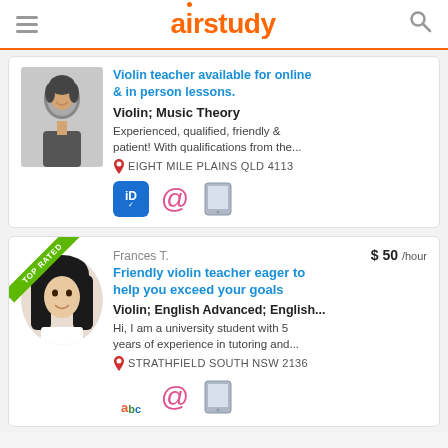airstudy
[Figure (photo): Tutor profile photo - smiling woman in black and white, rectangular crop]
Violin teacher available for online & in person lessons.
Violin; Music Theory
Experienced, qualified, friendly & patient! With qualifications from the...
EIGHT MILE PLAINS QLD 4113
[Figure (photo): Tutor profile photo - Frances T., smiling young woman, circular crop]
Frances T.   $ 50 /hour
Friendly violin teacher eager to help you exceed your goals
Violin; English Advanced; English...
Hi, I am a university student with 5 years of experience in tutoring and...
STRATHFIELD SOUTH NSW 2136